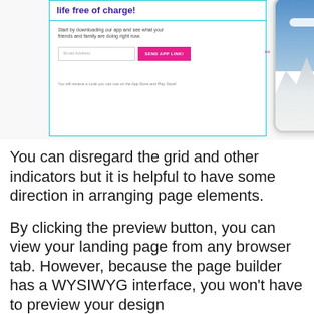[Figure (screenshot): Screenshot of a landing page builder preview showing a two-column layout: left side has a dark blue bold title 'life free of charge!', a description text 'Start by downloading our app and see what your friends and family are doing right now.', an email input field with placeholder 'Email Address' and a pink 'SEND APP LINK!' button, and a footnote 'You will recieve a code you can use on the App Store and Play Store!'. Right side shows a smartphone mockup with a mountain/snow landscape photo.]
You can disregard the grid and other indicators but it is helpful to have some direction in arranging page elements.
By clicking the preview button, you can view your landing page from any browser tab. However, because the page builder has a WYSIWYG interface, you won't have to preview your design